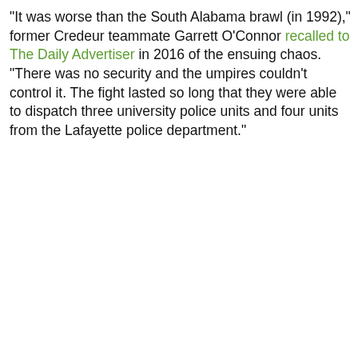"It was worse than the South Alabama brawl (in 1992)," former Credeur teammate Garrett O'Connor recalled to The Daily Advertiser in 2016 of the ensuing chaos. "There was no security and the umpires couldn't control it. The fight lasted so long that they were able to dispatch three university police units and four units from the Lafayette police department."